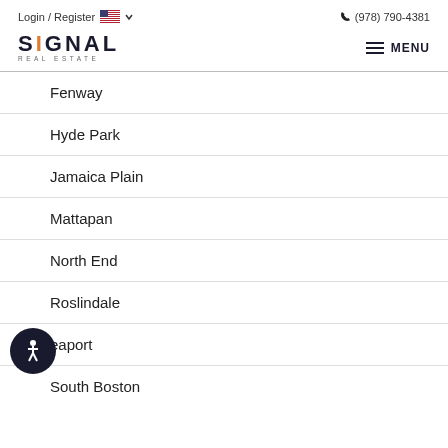Login / Register  (978) 790-4381
[Figure (logo): Signal Real Estate logo with stylized letter I in orange]
Fenway
Hyde Park
Jamaica Plain
Mattapan
North End
Roslindale
Seaport
South Boston